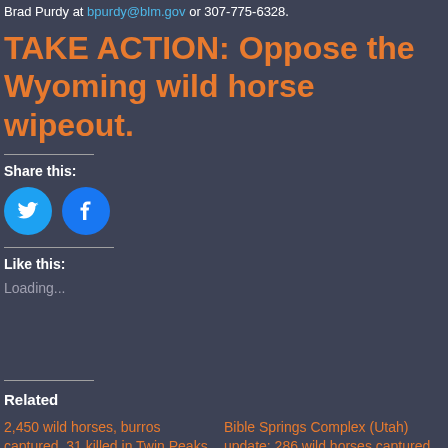Brad Purdy at bpurdy@blm.gov or 307-775-6328.
TAKE ACTION: Oppose the Wyoming wild horse wipeout.
Share this:
[Figure (illustration): Twitter and Facebook social share circular icon buttons (blue circles with white bird and f logos)]
Like this:
Loading...
Related
2,450 wild horses, burros captured, 31 killed in Twin Peaks roundup
Bible Springs Complex (Utah) update: 286 wild horses captured, 1 killed